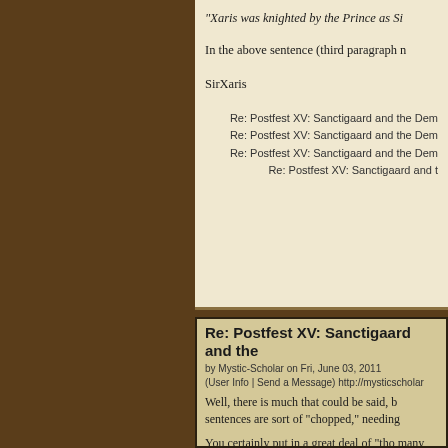"Xaris was knighted by the Prince as Si
In the above sentence (third paragraph n
SirXaris
Re: Postfest XV: Sanctigaard and the Dem
Re: Postfest XV: Sanctigaard and the Dem
Re: Postfest XV: Sanctigaard and the Dem
Re: Postfest XV: Sanctigaard and t
Re: Postfest XV: Sanctigaard and the
by Mystic-Scholar on Fri, June 03, 2011
(User Info | Send a Message) http://mysticscholar
Well, there is much that could be said, b sentences are sort of "chopped," needing
You certainly put in a great deal of "tho many henchmen and of varied ethnicity. that others will like the "set up" just fine